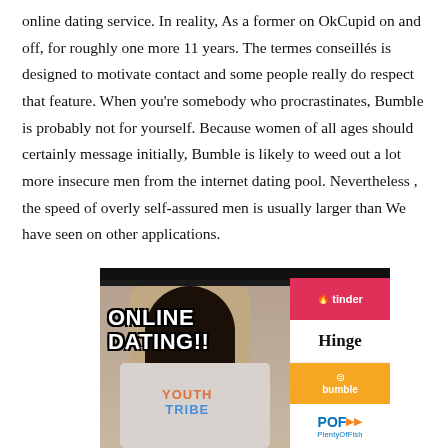online dating service. In reality, As a former on OkCupid on and off, for roughly one more 11 years. The termes conseillés is designed to motivate contact and some people really do respect that feature. When you're somebody who procrastinates, Bumble is probably not for yourself. Because women of all ages should certainly message initially, Bumble is likely to weed out a lot more insecure men from the internet dating pool. Nevertheless , the speed of overly self-assured men is usually larger than We have seen on other applications.
[Figure (photo): A thumbnail image showing a Black woman gesturing, wearing a colorful 'YOUTH TRIBE' sweatshirt, with text 'ONLINE DATING!!' overlaid on the left, and logos for Tinder, Hinge, Bumble, and POF (PlentyOfFish) on the right side panel, on a black background.]